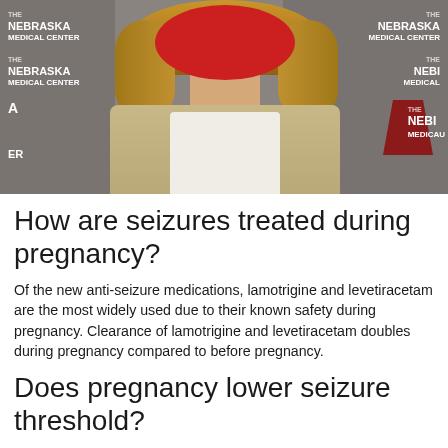[Figure (photo): A woman with blonde hair standing in front of a Nebraska Medical Center branded backdrop. Her face is obscured by a red circle. She is wearing a tan/beige cardigan over a white shirt.]
How are seizures treated during pregnancy?
Of the new anti-seizure medications, lamotrigine and levetiracetam are the most widely used due to their known safety during pregnancy. Clearance of lamotrigine and levetiracetam doubles during pregnancy compared to before pregnancy.
Does pregnancy lower seizure threshold?